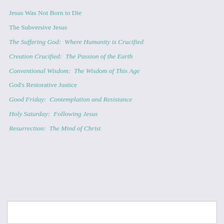Jesus Was Not Born to Die
The Subversive Jesus
The Suffering God:  Where Humanity is Crucified
Creation Crucified:  The Passion of the Earth
Conventional Wisdom:  The Wisdom of This Age
God's Restorative Justice
Good Friday:  Contemplation and Resistance
Holy Saturday:  Following Jesus
Resurrection:  The Mind of Christ
[Figure (other): White rectangular box at the bottom of the page, partially visible]